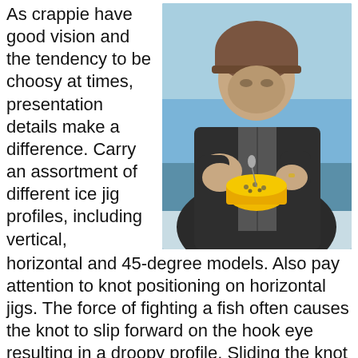As crappie have good vision and the tendency to be choosy at times, presentation details make a difference. Carry an assortment of different ice jig profiles, including vertical, horizontal and 45-degree models. Also pay attention to knot positioning on horizontal jigs. The force of fighting a fish often causes the knot to slip forward on the hook eye resulting in a droopy profile. Sliding the knot back to the center keeps the bait straight.
[Figure (photo): A person wearing a brown beanie and dark outdoor jacket working with ice fishing tackle, holding a yellow container of jigs outdoors near water on a bright day.]